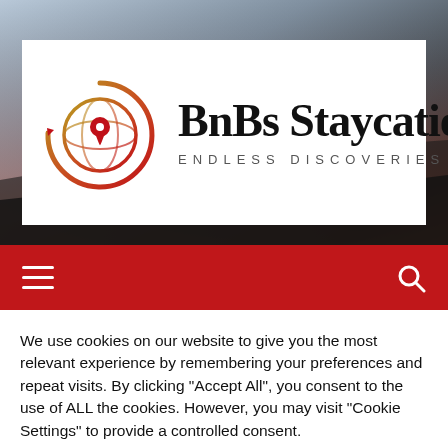[Figure (photo): Background photo of airplane wing at sunset with warm orange and grey sky tones]
[Figure (logo): BnBs Staycation logo: globe with location pin icon in red-orange gradient, with text 'BnBs Staycation' and tagline 'ENDLESS DISCOVERIES' on white background banner]
[Figure (infographic): Red navigation bar with white hamburger menu icon on left and white search magnifying glass icon on right]
We use cookies on our website to give you the most relevant experience by remembering your preferences and repeat visits. By clicking "Accept All", you consent to the use of ALL the cookies. However, you may visit "Cookie Settings" to provide a controlled consent.
Cookie Settings  Accept All